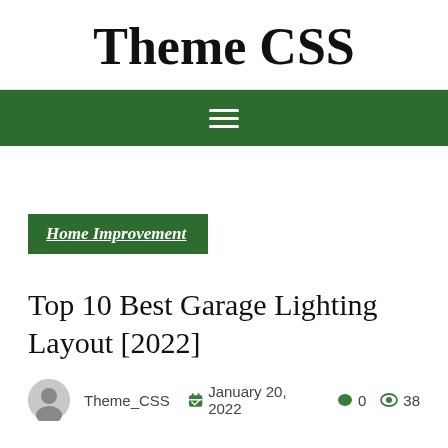Theme CSS
[Figure (other): Dark green navigation bar with white hamburger menu icon (three horizontal lines)]
Home Improvement
Top 10 Best Garage Lighting Layout [2022]
Theme_CSS  January 20, 2022  0  38